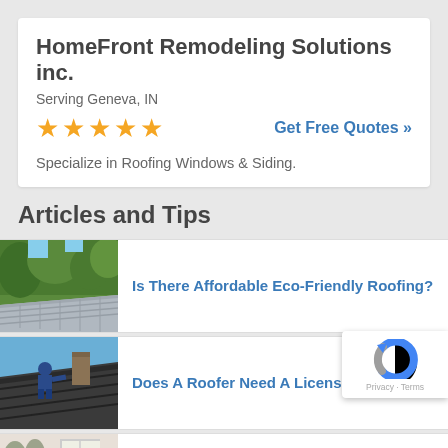HomeFront Remodeling Solutions inc.
Serving Geneva, IN
★★★★★
Get Free Quotes »
Specialize in Roofing Windows & Siding.
Articles and Tips
[Figure (photo): Metal roofing with green trees in background]
Is There Affordable Eco-Friendly Roofing?
[Figure (photo): Worker on a roof with chimney visible]
Does A Roofer Need A License?
[Figure (photo): Interior room with mold on walls]
Black Mold: Get It Out Of Your House